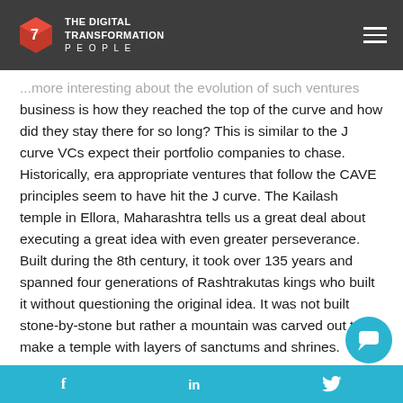The Digital Transformation People
...more interesting about the evolution of such ventures business is how they reached the top of the curve and how did they stay there for so long? This is similar to the J curve VCs expect their portfolio companies to chase. Historically, era appropriate ventures that follow the CAVE principles seem to have hit the J curve. The Kailash temple in Ellora, Maharashtra tells us a great deal about executing a great idea with even greater perseverance. Built during the 8th century, it took over 135 years and spanned four generations of Rashtrakutas kings who built it without questioning the original idea. It was not built stone-by-stone but rather a mountain was carved out to make a temple with layers of sanctums and shrines.
Archaeologists are unsuccessful in concluding how...
f   in   Twitter